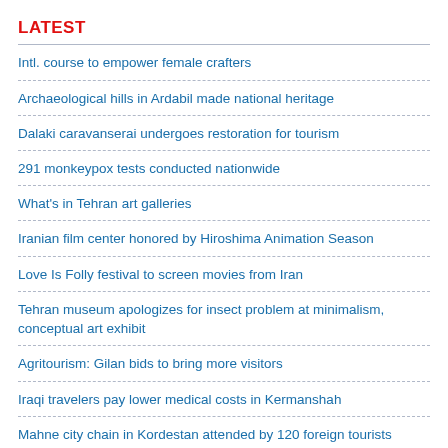LATEST
Intl. course to empower female crafters
Archaeological hills in Ardabil made national heritage
Dalaki caravanserai undergoes restoration for tourism
291 monkeypox tests conducted nationwide
What's in Tehran art galleries
Iranian film center honored by Hiroshima Animation Season
Love Is Folly festival to screen movies from Iran
Tehran museum apologizes for insect problem at minimalism, conceptual art exhibit
Agritourism: Gilan bids to bring more visitors
Iraqi travelers pay lower medical costs in Kermanshah
Mahne city chain in Kordestan attended by 120 foreign tourists